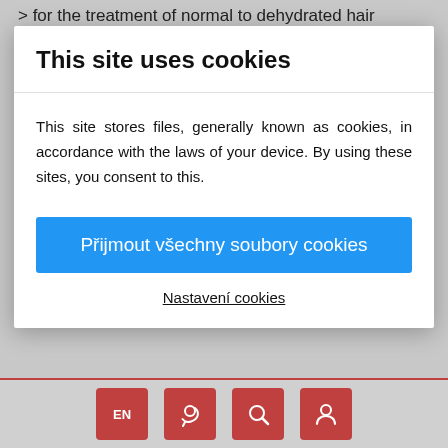> for the treatment of normal to dehydrated hair
This site uses cookies
This site stores files, generally known as cookies, in accordance with the laws of your device. By using these sites, you consent to this.
Přijmout všechny soubory cookies
Nastavení cookies
MAIN INGREDIENTS
> olive, sunflower, coconut, castor and jojoba oil, which soften, soften and lock moisture to the roots and hair along its entire length;
[Figure (screenshot): Bottom navigation bar with EN language button, phone/call icon, search icon, and user/account icon, all in red square buttons on grey background]